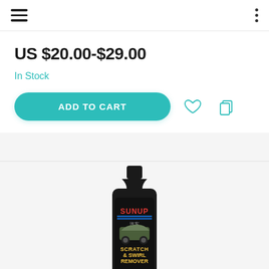Navigation header with hamburger menu and options menu
US $20.00-$29.00
In Stock
ADD TO CART
[Figure (photo): Black bottle of SUNUP Scratch & Swirl Remover with ISO9001:2015 certification label]